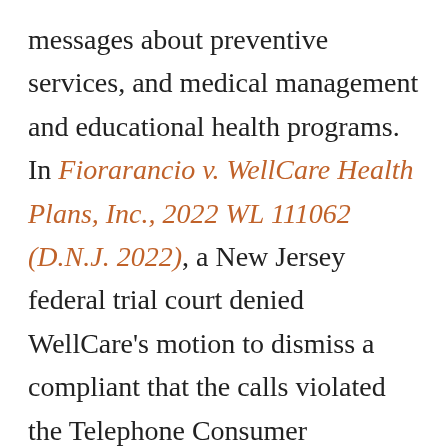messages about preventive services, and medical management and educational health programs. In Fiorarancio v. WellCare Health Plans, Inc., 2022 WL 111062 (D.N.J. 2022), a New Jersey federal trial court denied WellCare's motion to dismiss a compliant that the calls violated the Telephone Consumer Protection Act and related FCC regulations, even though the calls promoted free services. The case provides some helpful insight on when wellness outreach via automated phone